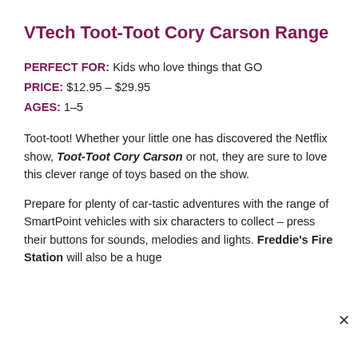VTech Toot-Toot Cory Carson Range
PERFECT FOR: Kids who love things that GO
PRICE: $12.95 – $29.95
AGES: 1–5
Toot-toot! Whether your little one has discovered the Netflix show, Toot-Toot Cory Carson or not, they are sure to love this clever range of toys based on the show.
Prepare for plenty of car-tastic adventures with the range of SmartPoint vehicles with six characters to collect – press their buttons for sounds, melodies and lights. Freddie's Fire Station will also be a huge